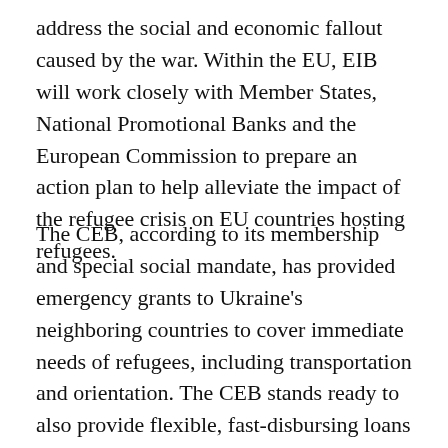address the social and economic fallout caused by the war. Within the EU, EIB will work closely with Member States, National Promotional Banks and the European Commission to prepare an action plan to help alleviate the impact of the refugee crisis on EU countries hosting refugees.
The CEB, according to its membership and special social mandate, has provided emergency grants to Ukraine's neighboring countries to cover immediate needs of refugees, including transportation and orientation. The CEB stands ready to also provide flexible, fast-disbursing loans to address the significant financial needs of neighboring and other countries hosting large inflow of refugees, while remaining focused on the social sector.